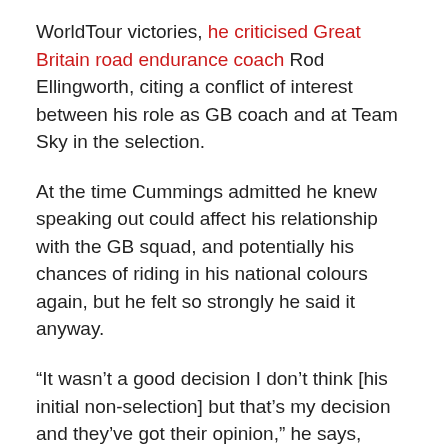WorldTour victories, he criticised Great Britain road endurance coach Rod Ellingworth, citing a conflict of interest between his role as GB coach and at Team Sky in the selection.
At the time Cummings admitted he knew speaking out could affect his relationship with the GB squad, and potentially his chances of riding in his national colours again, but he felt so strongly he said it anyway.
“It wasn’t a good decision I don’t think [his initial non-selection] but that’s my decision and they’ve got their opinion,” he says, insisting that his relationship with the other riders on the squad was fine when he was named in the squad after Peter Kennaugh withdrew.
“I think people respect I’m big enough to say what I think